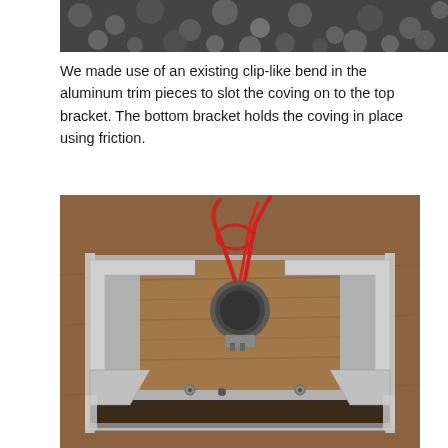[Figure (photo): Partial top photo showing a dark granular/textured background, cropped at the top of the page.]
We made use of an existing clip-like bend in the aluminum trim pieces to slot the coving on to the top bracket. The bottom bracket holds the coving in place using friction.
[Figure (photo): Photo of an aluminum bracket assembly on a wooden surface with red wires, showing the back of a lighting panel assembly with aluminum trim pieces, screws, and wiring.]